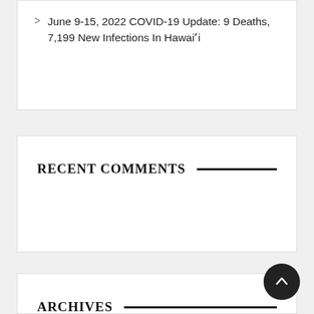June 9-15, 2022 COVID-19 Update: 9 Deaths, 7,199 New Infections In Hawaiʻi
RECENT COMMENTS
ARCHIVES
June 2022